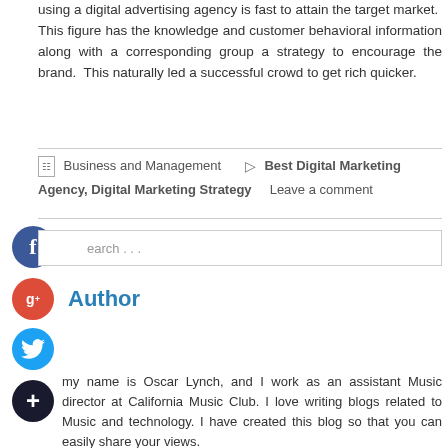using a digital advertising agency is fast to attain the target market. This figure has the knowledge and customer behavioral information along with a corresponding group a strategy to encourage the brand. This naturally led a successful crowd to get rich quicker.
Business and Management   Best Digital Marketing Agency, Digital Marketing Strategy   Leave a comment
Search ...
Author
my name is Oscar Lynch, and I work as an assistant Music director at California Music Club. I love writing blogs related to Music and technology. I have created this blog so that you can easily share your views.